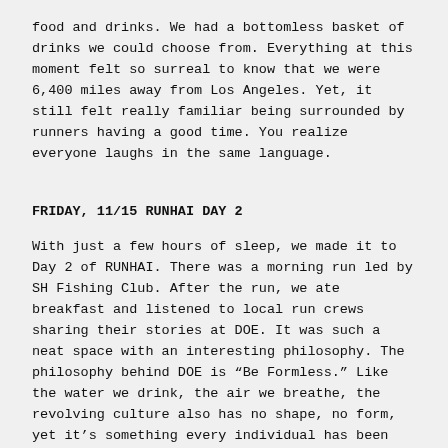food and drinks. We had a bottomless basket of drinks we could choose from. Everything at this moment felt so surreal to know that we were 6,400 miles away from Los Angeles. Yet, it still felt really familiar being surrounded by runners having a good time. You realize everyone laughs in the same language.
FRIDAY, 11/15 RUNHAI DAY 2
With just a few hours of sleep, we made it to Day 2 of RUNHAI. There was a morning run led by SH Fishing Club. After the run, we ate breakfast and listened to local run crews sharing their stories at DOE. It was such a neat space with an interesting philosophy. The philosophy behind DOE is "Be Formless." Like the water we drink, the air we breathe, the revolving culture also has no shape, no form, yet it’s something every individual has been participating in.